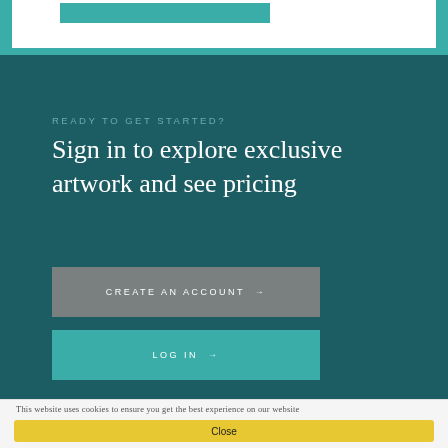[Figure (screenshot): Top teal banner with white card partially visible and teal button element inside]
READY TO GET STARTED?
Sign in to explore exclusive artwork and see pricing
CREATE AN ACCOUNT →
LOG IN →
This website uses cookies to ensure you get the best experience on our website
Close